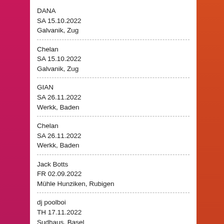DANA
SA 15.10.2022
Galvanik, Zug
Chelan
SA 15.10.2022
Galvanik, Zug
GIAN
SA 26.11.2022
Werkk, Baden
Chelan
SA 26.11.2022
Werkk, Baden
Jack Botts
FR 02.09.2022
Mühle Hunziken, Rubigen
dj poolboi
TH 17.11.2022
Sudhaus, Basel
NEWSLETTER